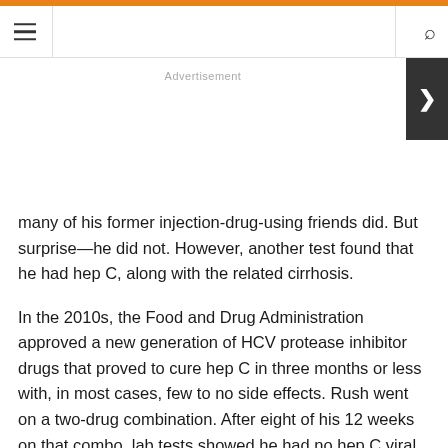≡  [navigation]  🔍
Advertisement
many of his former injection-drug-using friends did. But surprise—he did not. However, another test found that he had hep C, along with the related cirrhosis.
In the 2010s, the Food and Drug Administration approved a new generation of HCV protease inhibitor drugs that proved to cure hep C in three months or less with, in most cases, few to no side effects. Rush went on a two-drug combination. After eight of his 12 weeks on that combo, lab tests showed he had no hep C viral load. He was cured of HCV.